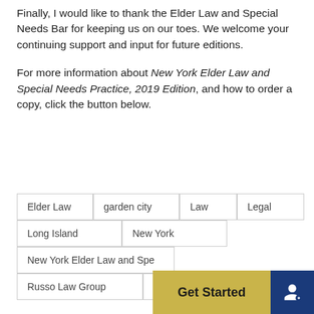Finally, I would like to thank the Elder Law and Special Needs Bar for keeping us on our toes. We welcome your continuing support and input for future editions.
For more information about New York Elder Law and Special Needs Practice, 2019 Edition, and how to order a copy, click the button below.
Elder Law
garden city
Law
Legal
Long Island
New York
New York Elder Law and Spe...
Russo Law Group
Special needs